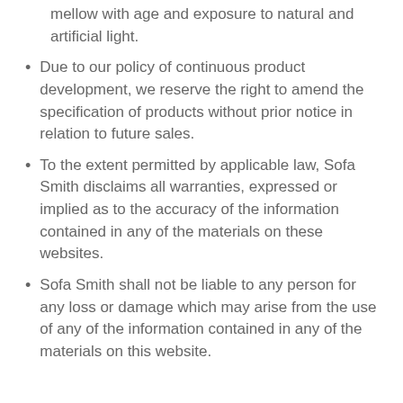mellow with age and exposure to natural and artificial light.
Due to our policy of continuous product development, we reserve the right to amend the specification of products without prior notice in relation to future sales.
To the extent permitted by applicable law, Sofa Smith disclaims all warranties, expressed or implied as to the accuracy of the information contained in any of the materials on these websites.
Sofa Smith shall not be liable to any person for any loss or damage which may arise from the use of any of the information contained in any of the materials on this website.